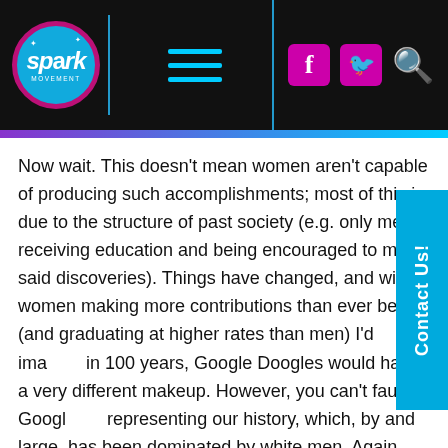[Figure (logo): Spark Movement logo in circular badge with hamburger menu, Facebook, Twitter and search icons on black header bar]
Now wait. This doesn't mean women aren't capable of producing such accomplishments; most of this is due to the structure of past society (e.g. only men receiving education and being encouraged to make said discoveries). Things have changed, and with women making more contributions than ever before (and graduating at higher rates than men) I'd imagine in 100 years, Google Doogles would have a very different makeup. However, you can't fault Google for representing our history, which, by and large, has been dominated by white men. Again, that has changed, and is changing. However, you can't say that Google hasn't been accurate. Should Google choose